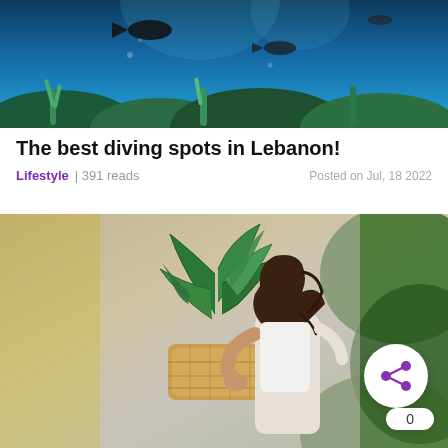[Figure (photo): Underwater ocean scene with coral reef and fish swimming, blue water background]
The best diving spots in Lebanon!
Lifestyle | 391 reads    Posted on Jul, 18 2022
[Figure (photo): Woman with curly hair holding a potted plant with large green leaves, surrounded by tropical plants. A share button with count 0 overlaid in the bottom right.]